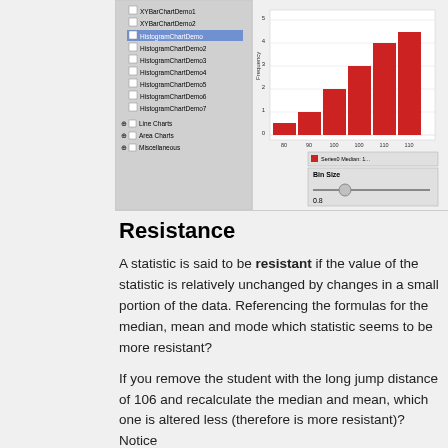[Figure (screenshot): Screenshot of a software application showing a tree panel with chart demos listed (XYBarChartDemo1, XYBarChartDemo2, HistogramChartDemo highlighted in blue, HistogramChartDemo2 through HistogramChartDemo7, Line Charts, Area Charts, Miscellaneous) and a histogram chart panel showing red bars with Frequency on y-axis and a Bin Size slider control.]
Resistance
A statistic is said to be resistant if the value of the statistic is relatively unchanged by changes in a small portion of the data. Referencing the formulas for the median, mean and mode which statistic seems to be more resistant?
If you remove the student with the long jump distance of 106 and recalculate the median and mean, which one is altered less (therefore is more resistant)? Notice